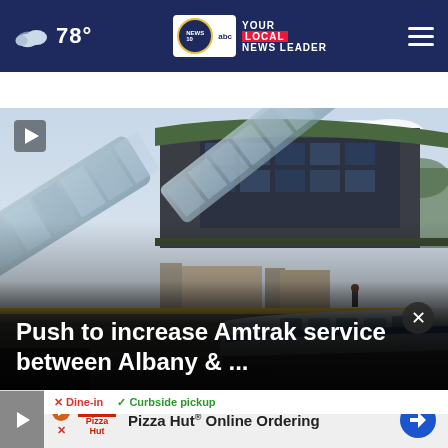78° | NEWS 10 YOUR LOCAL NEWS LEADER
TOP STORIES ›
[Figure (photo): Amtrak train station with glass-roofed pedestrian bridges and a silver passenger train visible at the platform]
Push to increase Amtrak service between Albany & ...
[Figure (photo): Advertisement bar: Pizza Hut Online Ordering with Dine-in and Curbside pickup options]